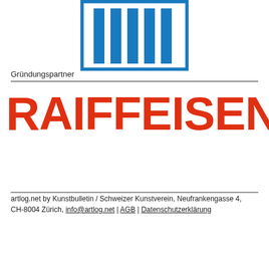[Figure (logo): artlog.net / Kunstbulletin logo with blue vertical bars inside a rectangle, partially cropped at top]
Gründungspartner
[Figure (logo): RAIFFEISEN logo in bold red uppercase letters]
artlog.net by Kunstbulletin / Schweizer Kunstverein, Neufrankengasse 4, CH-8004 Zürich, info@artlog.net | AGB | Datenschutzerklärung